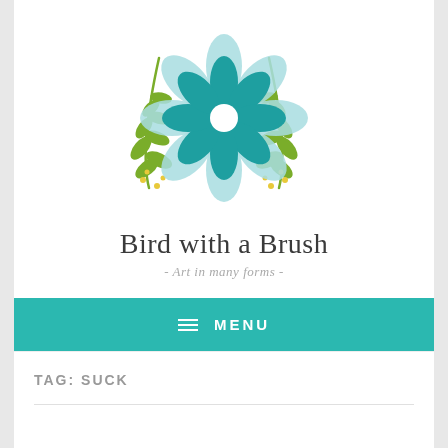[Figure (logo): Decorative flower logo with teal blue petals in center, flanked by green botanical branches with yellow dot accents on each side]
Bird with a Brush
- Art in many forms -
≡ MENU
TAG: SUCK